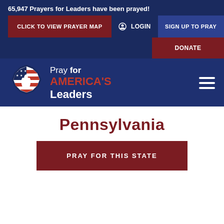65,947 Prayers for Leaders have been prayed!
CLICK TO VIEW PRAYER MAP
LOGIN
SIGN UP TO PRAY
DONATE
[Figure (logo): Pray for America's Leaders logo with praying hands and American flag shield emblem]
Pray for AMERICA'S Leaders
Pennsylvania
PRAY FOR THIS STATE